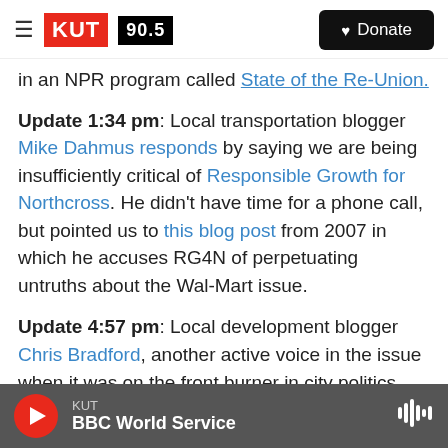KUT 90.5 | Donate
in an NPR program called State of the Re-Union.
Update 1:34 pm: Local transportation blogger Mike Dahmus responds by saying we are being insufficiently critical of Responsible Growth for Northcross. He didn't have time for a phone call, but pointed us to this blog post from 2007 in which he accuses RG4N of perpetuating untruths about the Wal-Mart issue.
Update 4:57 pm: Local development blogger Chris Bradford, another active voice in the issue when it was on the front burner in city politics, says he still has a bad taste in his mouth over the whole issue.
KUT | BBC World Service